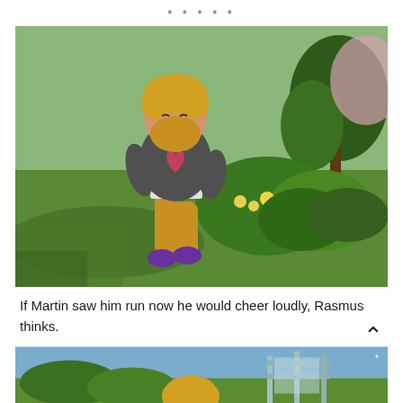*****
[Figure (screenshot): A Sims 4 screenshot of a male Sim with yellow/golden hair and beard, wearing a grey t-shirt with a heart, mustard yellow pants, and purple shoes, jogging through a park with green grass, flowers, and trees in the background.]
If Martin saw him run now he would cheer loudly, Rasmus thinks.
[Figure (screenshot): Partial Sims 4 screenshot showing a golden-haired Sim outdoors near a fence with garden plants in the background.]